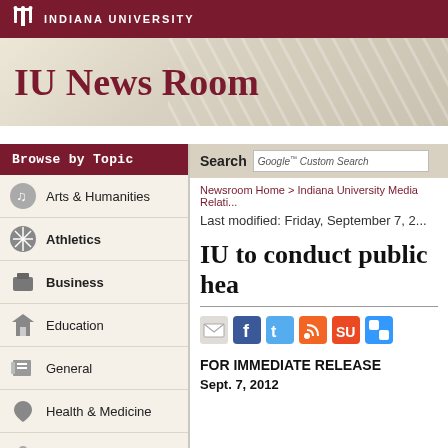INDIANA UNIVERSITY
IU News Room
Browse by Topic
Arts & Humanities
Athletics
Business
Education
General
Health & Medicine
Law
Public & Environmental Affairs
Search  Google Custom Search
Newsroom Home > Indiana University Media Relati...
Last modified: Friday, September 7, 2...
IU to conduct public hea...
FOR IMMEDIATE RELEASE
Sept. 7, 2012